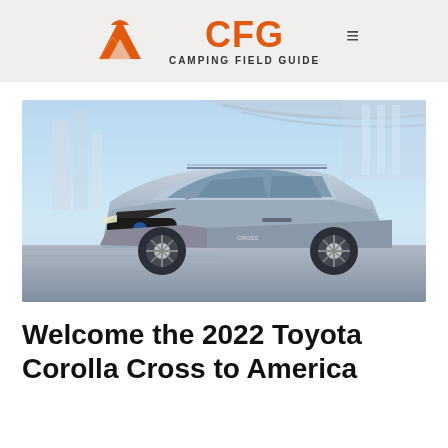CFG CAMPING FIELD GUIDE
[Figure (photo): Silver Toyota Corolla Cross SUV driving through a modern architectural setting with glass and metal structures in the background, motion blur on the road.]
Welcome the 2022 Toyota Corolla Cross to America